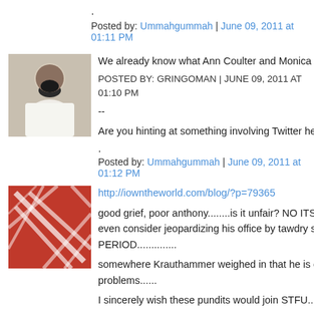.
Posted by: Ummahgummah | June 09, 2011 at 01:11 PM
[Figure (photo): Avatar photo of a man with a beard wearing white clothing]
We already know what Ann Coulter and Monica Crowley t
POSTED BY: GRINGOMAN | JUNE 09, 2011 AT 01:10 PM
--
Are you hinting at something involving Twitter here, Gring
.
Posted by: Ummahgummah | June 09, 2011 at 01:12 PM
[Figure (illustration): Abstract red geometric pattern avatar]
http://iowntheworld.com/blog/?p=79365
good grief, poor anthony........is it unfair? NO ITS NOT...it is even consider jeopardizing his office by tawdry sexting.... PERIOD..............
somewhere Krauthammer weighed in that he is only hum problems......
I sincerely wish these pundits would join STFU......report th